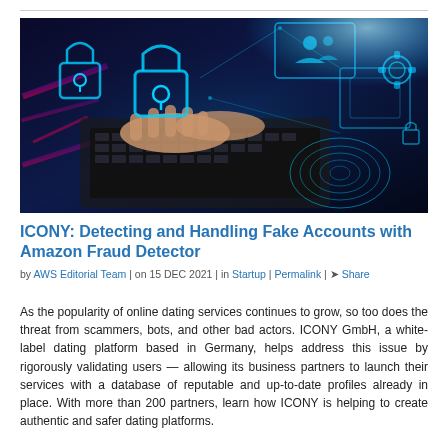[Figure (photo): Person typing on a laptop keyboard with digital cybersecurity overlays — glowing padlocks, network icons, fingerprint scanner, and blue holographic UI elements floating in the background.]
ICONY: Detecting and Handling Fake Accounts with Amazon Fraud Detector
by AWS Editorial Team | on 15 DEC 2021 | in Startup | Permalink | Share
As the popularity of online dating services continues to grow, so too does the threat from scammers, bots, and other bad actors. ICONY GmbH, a white-label dating platform based in Germany, helps address this issue by rigorously validating users — allowing its business partners to launch their services with a database of reputable and up-to-date profiles already in place. With more than 200 partners, learn how ICONY is helping to create authentic and safer dating platforms.